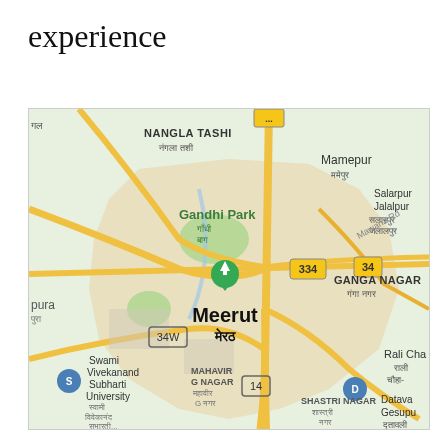experience
[Figure (map): Google Maps screenshot showing Meerut, India with surrounding areas including Nangla Tashi, Gandhi Park, Mamepur, Salarpur Jalalpur, Ganga Nagar, Swami Vivekanand Subharti University, Mahavir G Nagar, Shastri Nagar, and road numbers 334, 34, 34W, 14.]